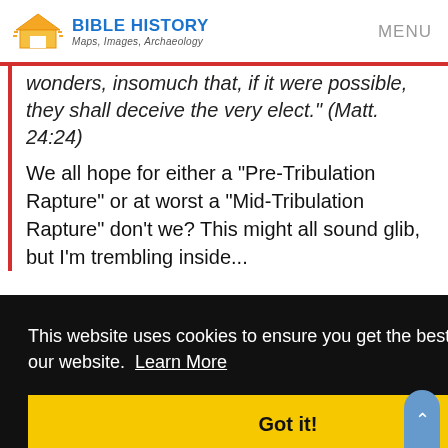BIBLE HISTORY Maps, Images, Archaeology | MENU
wonders, insomuch that, if it were possible, they shall deceive the very elect." (Matt. 24:24)
We all hope for either a "Pre-Tribulation Rapture" or at worst a "Mid-Tribulation Rapture" don't we? This might all sound glib, but I'm trembling inside...
This website uses cookies to ensure you get the best experience on our website. Learn More
Got it!
sets himself up in God's temple, proclaiming